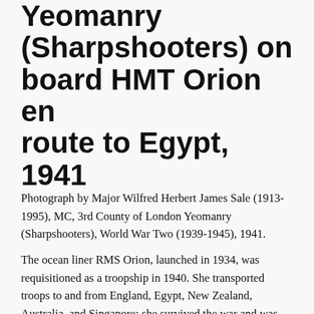Yeomanry (Sharpshooters) on board HMT Orion en route to Egypt, 1941
Photograph by Major Wilfred Herbert James Sale (1913-1995), MC, 3rd County of London Yeomanry (Sharpshooters), World War Two (1939-1945), 1941.
The ocean liner RMS Orion, launched in 1934, was requisitioned as a troopship in 1940. She transported troops to and from England, Egypt, New Zealand, Australia, and Singapore; she survived the war and was scrapped in 1963. Troops